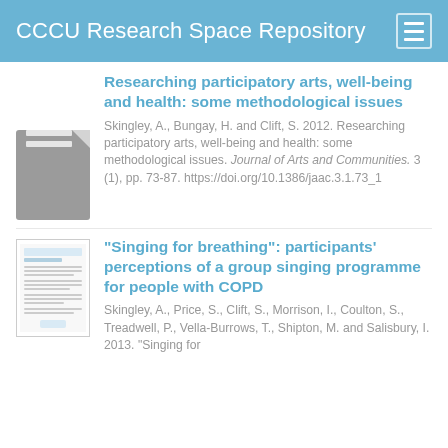CCCU Research Space Repository
Researching participatory arts, well-being and health: some methodological issues
Skingley, A., Bungay, H. and Clift, S. 2012. Researching participatory arts, well-being and health: some methodological issues. Journal of Arts and Communities. 3 (1), pp. 73-87. https://doi.org/10.1386/jaac.3.1.73_1
“Singing for breathing”: participants’ perceptions of a group singing programme for people with COPD
Skingley, A., Price, S., Clift, S., Morrison, I., Coulton, S., Treadwell, P., Vella-Burrows, T., Shipton, M. and Salisbury, I. 2013. “Singing for